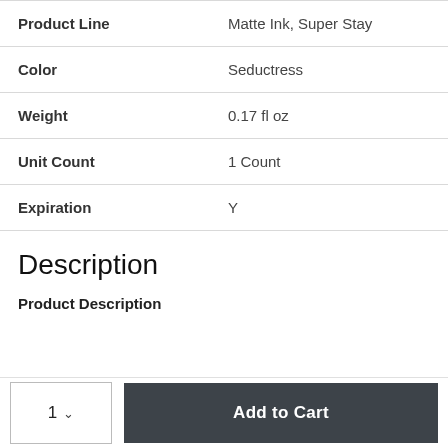| Attribute | Value |
| --- | --- |
| Product Line | Matte Ink, Super Stay |
| Color | Seductress |
| Weight | 0.17 fl oz |
| Unit Count | 1 Count |
| Expiration | Y |
Description
Product Description